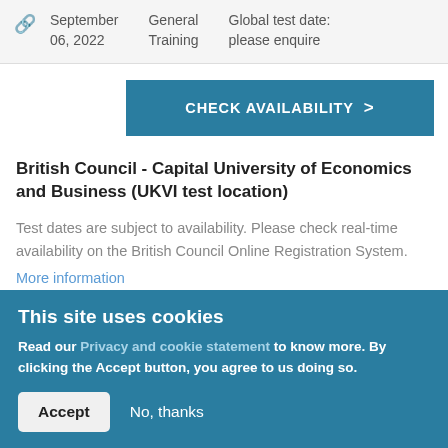|  | Date | Type | Global test date |
| --- | --- | --- | --- |
| 🔗 | September 06, 2022 | General Training | Global test date: please enquire |
CHECK AVAILABILITY >
British Council - Capital University of Economics and Business (UKVI test location)
Test dates are subject to availability. Please check real-time availability on the British Council Online Registration System.
More information
This site uses cookies
Read our Privacy and cookie statement to know more. By clicking the Accept button, you agree to us doing so.
Accept   No, thanks